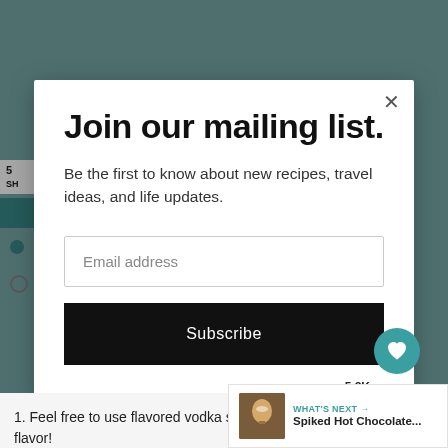[Figure (screenshot): Background of webpage with teal/gray background, partially visible page content behind modal overlay]
Join our mailing list.
Be the first to know about new recipes, travel ideas, and life updates.
Email address
Subscribe
1. Feel free to use flavored vodka such or caramel for even more flavor!
[Figure (infographic): What's Next widget showing Spiked Hot Chocolate thumbnail with teal arrow label]